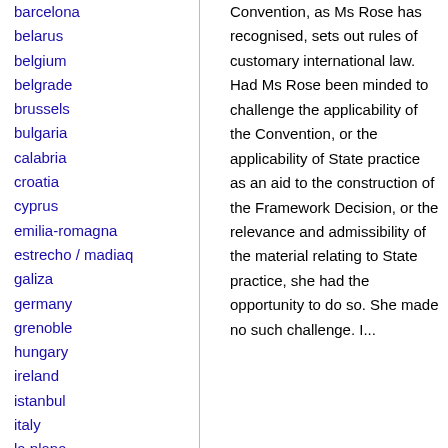barcelona
belarus
belgium
belgrade
brussels
bulgaria
calabria
croatia
cyprus
emilia-romagna
estrecho / madiaq
galiza
germany
grenoble
hungary
ireland
istanbul
italy
la plana
liege
liguria
lille
linksunten
lombardia
madrid
malta
marseille
Convention, as Ms Rose has recognised, sets out rules of customary international law. Had Ms Rose been minded to challenge the applicability of the Convention, or the applicability of State practice as an aid to the construction of the Framework Decision, or the relevance and admissibility of the material relating to State practice, she had the opportunity to do so. She made no such challenge. I...